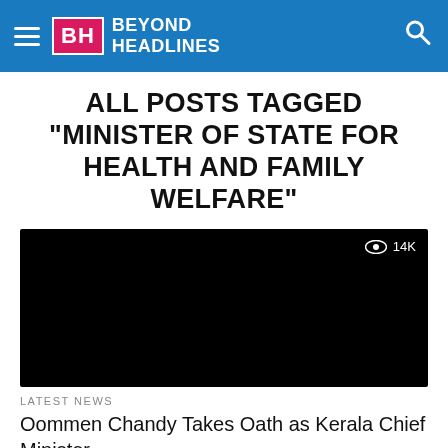BH BEYOND HEADLINES
ALL POSTS TAGGED "MINISTER OF STATE FOR HEALTH AND FAMILY WELFARE"
[Figure (screenshot): Black video thumbnail with eye icon and 14K view count in top right corner]
LATEST NEWS
Oommen Chandy Takes Oath as Kerala Chief Minister
BeyondHeadlines Special Correspondent Thiruvananthapuram: Veteran Congress leader Oommen Chandy was on Wednesday sworn in as the 21st chief minister of Kerala along...